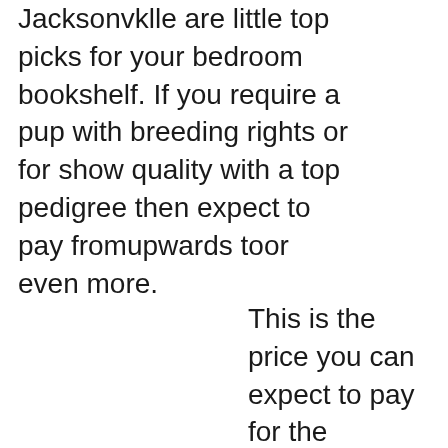Jacksonvklle are little top picks for your bedroom bookshelf. If you require a pup with breeding rights or for show quality with a top pedigree then expect to pay fromupwards toor even more.
This is the price you can expect to pay for the Yorkshire Terrier - Yorkie